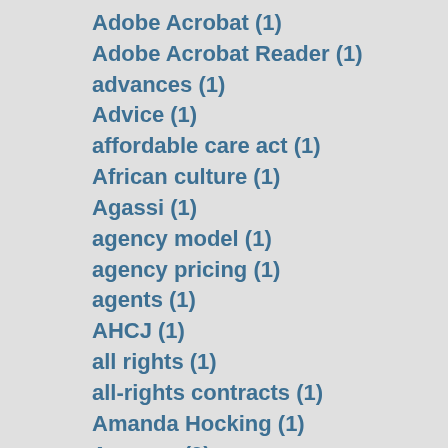Adobe Acrobat (1)
Adobe Acrobat Reader (1)
advances (1)
Advice (1)
affordable care act (1)
African culture (1)
Agassi (1)
agency model (1)
agency pricing (1)
agents (1)
AHCJ (1)
all rights (1)
all-rights contracts (1)
Amanda Hocking (1)
Amazon (9)
American Society for Indexing (1)
analog (1)
and Lulu (1)
APH history (1)